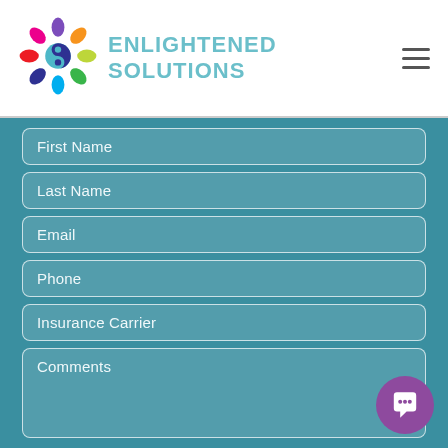[Figure (logo): Enlightened Solutions colorful circular logo with figures]
ENLIGHTENED SOLUTIONS
First Name
Last Name
Email
Phone
Insurance Carrier
Comments